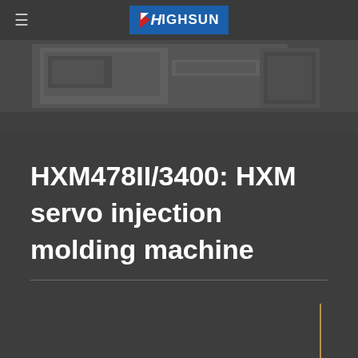≡  HIGHSUN
[Figure (photo): Industrial injection molding machine shown in dark-toned photograph, machine body visible against dark background]
HXM478II/3400: HXM servo injection molding machine